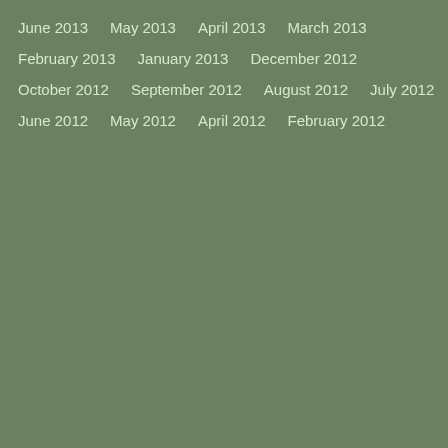June 2013
May 2013
April 2013
March 2013
February 2013
January 2013
December 2012
October 2012
September 2012
August 2012
July 2012
June 2012
May 2012
April 2012
February 2012